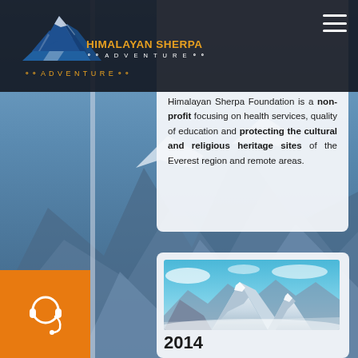[Figure (screenshot): Website header/navigation bar for Himalayan Sherpa Adventure with mountain logo, orange brand name text, and hamburger menu icon on dark background]
Himalayan Sherpa Foundation is a non-profit focusing on health services, quality of education and protecting the cultural and religious heritage sites of the Everest region and remote areas.
[Figure (photo): Mountain landscape photo showing snow-covered Himalayan peaks (resembling Everest region) with blue sky and clouds, labeled 2014 below]
2014